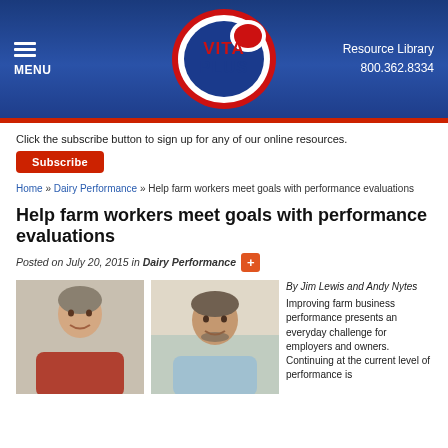[Figure (logo): Vita Plus logo — red and blue oval logo with VITA PLUS text]
MENU | Resource Library | 800.362.8334
Click the subscribe button to sign up for any of our online resources.
Subscribe
Home » Dairy Performance » Help farm workers meet goals with performance evaluations
Help farm workers meet goals with performance evaluations
Posted on July 20, 2015 in Dairy Performance
[Figure (photo): Headshot of Jim Lewis, a middle-aged man smiling, wearing a red plaid shirt]
[Figure (photo): Headshot of Andy Nytes, a middle-aged man smiling, wearing a light blue shirt, with an office/bulletin board background]
By Jim Lewis and Andy Nytes
Improving farm business performance presents an everyday challenge for employers and owners. Continuing at the current level of performance is